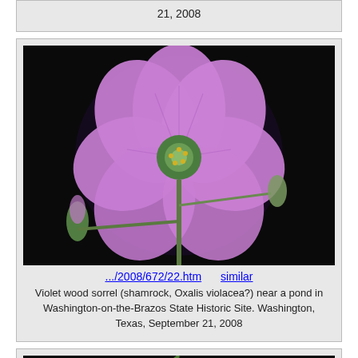21, 2008
[Figure (photo): Close-up photo of a violet wood sorrel flower (Oxalis violacea?) with pink/purple petals and green center, against a dark background, with buds visible.]
.../2008/672/22.htm   similar
Violet wood sorrel (shamrock, Oxalis violacea?) near a pond in Washington-on-the-Brazos State Historic Site. Washington, Texas, September 21, 2008
[Figure (photo): Close-up photo of white flowers with yellow/orange stamens on a green stem, against a dark background.]